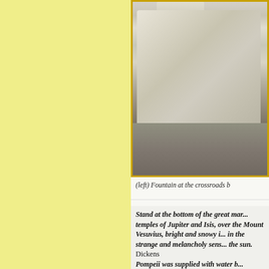[Figure (photo): Photograph of an ancient stone fountain block at Pompeii, showing a large rectangular stone basin/block with rough textured surface, with smaller stone elements visible at top, set on rocky ground. Photo is partially cropped on the right side.]
(left) Fountain at the crossroads b...
Stand at the bottom of the great mar... temples of Jupiter and Isis, over the... Mount Vesuvius, bright and snowy i... in the strange and melancholy sens... the sun. Dickens Pompeii was supplied with water b... Emperor Augustus. Forty public fo... had their own fountain in the peris...